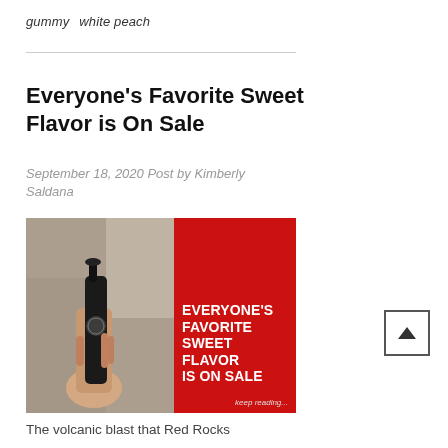gummy   white peach
Everyone's Favorite Sweet Flavor is On Sale
September 18, 2020 Post by Kimberly Saldana
[Figure (photo): Left half: photo of a hand holding a black vape/e-liquid bottle outdoors with blurred background. Right half: red background with bold white uppercase text reading EVERYONE'S FAVORITE SWEET FLAVOR IS ON SALE, with small italic 'keep reading...' at bottom right.]
The volcanic blast that Red Rocks